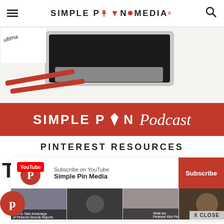SIMPLE PIN MEDIA
[Figure (photo): Laptop and red pencils on white desk with Simple Pin Podcast logo banner in red]
PINTEREST RESOURCES
[Figure (screenshot): YouTube subscribe bar for Simple Pin Media with video thumbnails below]
T
[Figure (logo): Pinterest P icon in red circle]